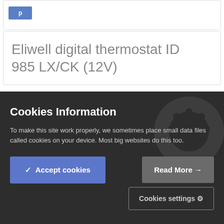[Figure (screenshot): Partial view of a blue button at top of page]
Eliwell digital thermostat ID 985 LX/CK (12V)
Cookies Information
To make this site work properly, we sometimes place small data files called cookies on your device. Most big websites do this too.
✓ Accept cookies
Read More →
Cookies settings ⚙